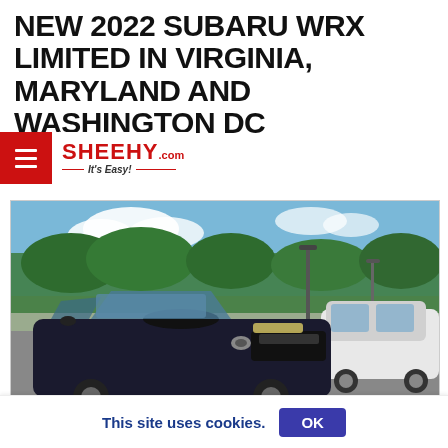NEW 2022 SUBARU WRX LIMITED IN VIRGINIA, MARYLAND AND WASHINGTON DC
2 Results
[Figure (logo): Sheehy.com dealership logo with red hamburger menu button and tagline 'It's Easy!']
[Figure (photo): A dark blue/black 2022 Subaru WRX Limited sedan photographed in a dealer lot with other vehicles, trees and blue sky in background]
This site uses cookies.  OK